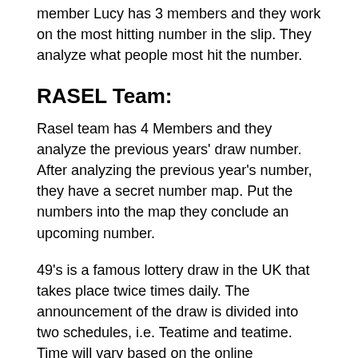member Lucy has 3 members and they work on the most hitting number in the slip. They analyze what people most hit the number.
RASEL Team:
Rasel team has 4 Members and they analyze the previous years' draw number. After analyzing the previous year's number, they have a secret number map. Put the numbers into the map they conclude an upcoming number.
49's is a famous lottery draw in the UK that takes place twice times daily. The announcement of the draw is divided into two schedules, i.e. Teatime and teatime. Time will vary based on the online bookmaker with whom you are registered.
Six numbers, along with the bonus number, are drawn